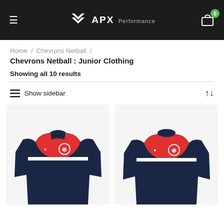APX Performance
Home / Chevrons Netball /
Chevrons Netball : Junior Clothing
Showing all 10 results
Show sidebar
[Figure (photo): Two junior netball jerseys (zip-neck and crew-neck) in navy blue and red with white stripe and club logos]
[Figure (photo): Crew-neck junior netball jersey in navy blue and red with white stripe and club logos]